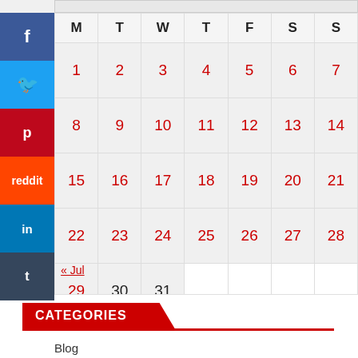| M | T | W | T | F | S | S |
| --- | --- | --- | --- | --- | --- | --- |
| 1 | 2 | 3 | 4 | 5 | 6 | 7 |
| 8 | 9 | 10 | 11 | 12 | 13 | 14 |
| 15 | 16 | 17 | 18 | 19 | 20 | 21 |
| 22 | 23 | 24 | 25 | 26 | 27 | 28 |
| 29 | 30 | 31 |  |  |  |  |
« Jul
CATEGORIES
Blog